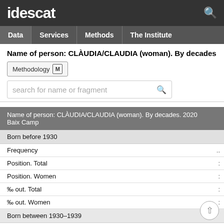idescat
Data | Services | Methods | The Institute
Name of person: CLÀUDIA/CLAUDIA (woman). By decades
Methodology
search for name or fragment
Name of person: CLÀUDIA/CLAUDIA (woman). By decades. 2020 Baix Camp
|  |  |
| --- | --- |
| Born before 1930 |  |
| Frequency | .. |
| Position. Total | : |
| Position. Women | : |
| ‰ out. Total | : |
| ‰ out. Women | : |
| Born between 1930–1939 |  |
| Frequency | .. |
| Position. Total | : |
| Position. Women |  |